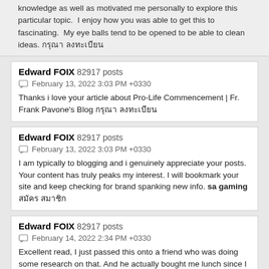knowledge as well as motivated me personally to explore this particular topic. I enjoy how you was able to get this to fascinating. My eye balls tend to be opened to be able to clean ideas. [Thai text] [Thai text]
Edward FOIX  82917 posts
February 13, 2022 3:03 PM +0330
Thanks i love your article about Pro-Life Commencement | Fr. Frank Pavone's Blog [Thai text] [Thai text]
Edward FOIX  82917 posts
February 13, 2022 3:03 PM +0330
I am typically to blogging and i genuinely appreciate your posts. Your content has truly peaks my interest. I will bookmark your site and keep checking for brand spanking new info. sa gaming [Thai text] [Thai text]
Edward FOIX  82917 posts
February 14, 2022 2:34 PM +0330
Excellent read, I just passed this onto a friend who was doing some research on that. And he actually bought me lunch since I found it for him smile So let me rephrase that: Thank you for lunch! casino live
Edward FOIX  82917 posts